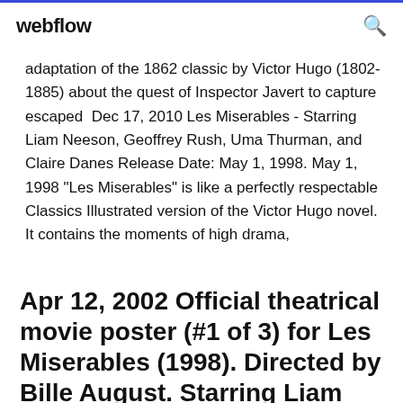webflow
adaptation of the 1862 classic by Victor Hugo (1802-1885) about the quest of Inspector Javert to capture escaped  Dec 17, 2010 Les Miserables - Starring Liam Neeson, Geoffrey Rush, Uma Thurman, and Claire Danes Release Date: May 1, 1998. May 1, 1998 "Les Miserables" is like a perfectly respectable Classics Illustrated version of the Victor Hugo novel. It contains the moments of high drama,
Apr 12, 2002 Official theatrical movie poster (#1 of 3) for Les Miserables (1998). Directed by Bille August. Starring Liam